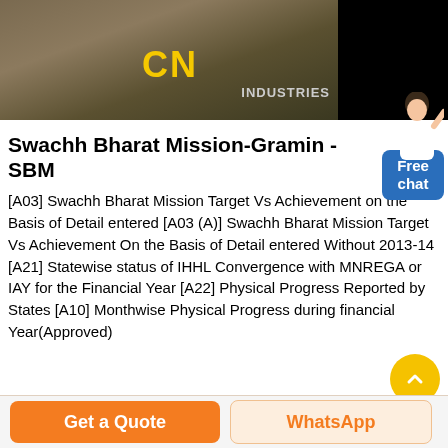[Figure (photo): Construction site or industrial machinery photo with CN Industries logo text overlay on dark background]
Swachh Bharat Mission-Gramin - SBM
[A03] Swachh Bharat Mission Target Vs Achievement on the Basis of Detail entered [A03 (A)] Swachh Bharat Mission Target Vs Achievement On the Basis of Detail entered Without 2013-14 [A21] Statewise status of IHHL Convergence with MNREGA or IAY for the Financial Year [A22] Physical Progress Reported by States [A10] Monthwise Physical Progress during financial Year(Approved)
Get a Quote
WhatsApp